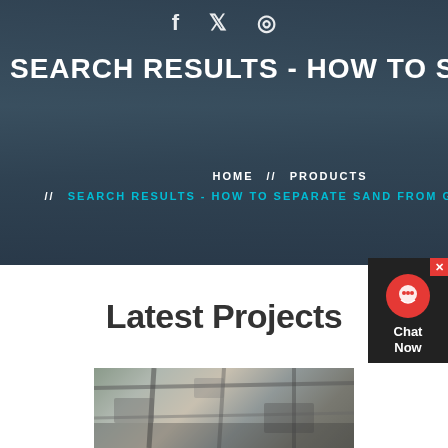[Figure (photo): Screenshot of a website page showing a construction site with cranes and buildings in the background, overlaid with dark semi-transparent banner]
SEARCH RESULTS - HOW TO SEP
HOME // PRODUCTS // SEARCH RESULTS - HOW TO SEPARATE SAND FROM GOLD FLAKES
Latest Projects
[Figure (photo): Industrial construction or processing equipment photo at the bottom of the page]